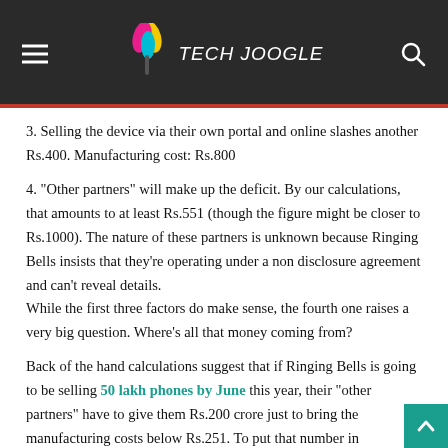Tech Joogle
3. Selling the device via their own portal and online slashes another Rs.400. Manufacturing cost: Rs.800
4. "Other partners" will make up the deficit. By our calculations, that amounts to at least Rs.551 (though the figure might be closer to Rs.1000). The nature of these partners is unknown because Ringing Bells insists that they're operating under a non disclosure agreement and can't reveal details.
While the first three factors do make sense, the fourth one raises a very big question. Where's all that money coming from?
Back of the hand calculations suggest that if Ringing Bells is going to be selling 50 lakh phones by June this year, their "other partners" have to give them Rs.200 crore just to bring the manufacturing costs below Rs.251. To put that number in